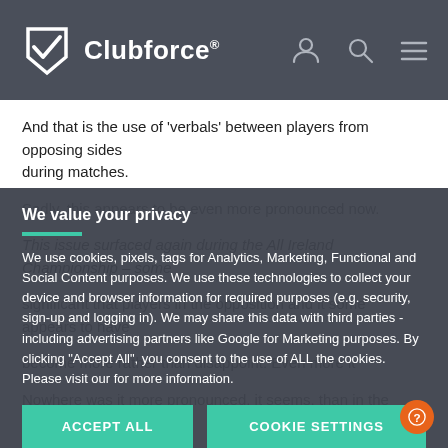Clubforce®
And that is the use of 'verbals' between players from opposing sides during matches.
Sadly, this appears to be even more pronounced now.
This issue surfaced again during the All Ireland Championship – some
significant that players in the opposition and it some appears to have
become more rather than disappoint. Even more it
Nowhere was it more pronounced, it seems, than in the
and it saddens me greatly.
We value your privacy
We use cookies, pixels, tags for Analytics, Marketing, Functional and Social Content purposes. We use these technologies to collect your device and browser information for required purposes (e.g. security, sign-up and logging in). We may share this data with third parties - including advertising partners like Google for Marketing purposes. By clicking "Accept All", you consent to the use of ALL the cookies. Please visit our for more information.
ACCEPT ALL
COOKIE SETTINGS